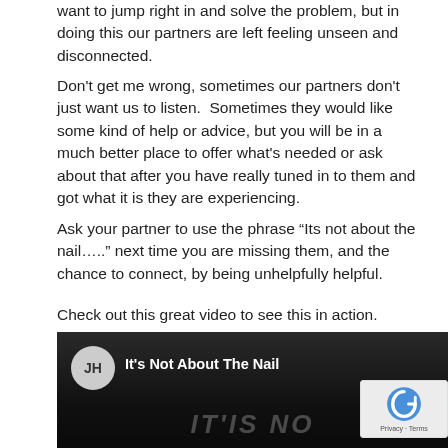want to jump right in and solve the problem, but in doing this our partners are left feeling unseen and disconnected.
Don't get me wrong, sometimes our partners don't just want us to listen.  Sometimes they would like some kind of help or advice, but you will be in a much better place to offer what's needed or ask about that after you have really tuned in to them and got what it is they are experiencing.
Ask your partner to use the phrase “Its not about the nail…..” next time you are missing them, and the chance to connect, by being unhelpfully helpful.
Check out this great video to see this in action.
[Figure (screenshot): Video thumbnail showing 'It's Not About The Nail' with a dark background, avatar circle with initials JH, and faint text overlay at bottom reading IT'IS NOT...]